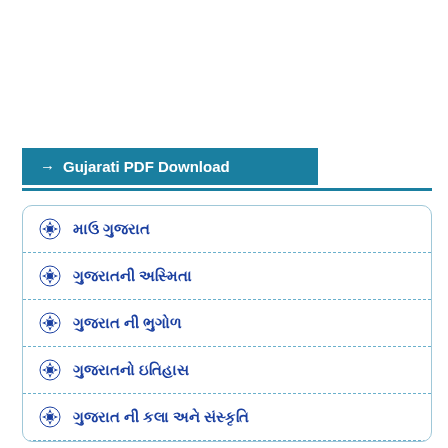→ Gujarati PDF Download
માઉ ગુજરાત
ગુજરાતની અસ્મિતા
ગુજરાત ની ભુગોળ
ગુજરાતનો ઇતિહાસ
ગુજરાત ની કલા અને સંસ્કૃતિ
ગુજરાતના જિલ્લાઓ
ગુજરાતના લોકનૃત્યો